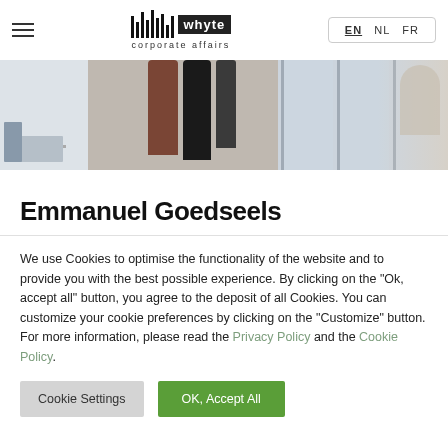Whyte Corporate Affairs — EN NL FR
[Figure (photo): Hero banner with office/wardrobe composite: left section shows a desk scene, middle shows hanging coats (brown and black), right shows glass panel walls with a blurred person walking.]
Emmanuel Goedseels
We use Cookies to optimise the functionality of the website and to provide you with the best possible experience. By clicking on the "Ok, accept all" button, you agree to the deposit of all Cookies. You can customize your cookie preferences by clicking on the "Customize" button. For more information, please read the Privacy Policy and the Cookie Policy.
Cookie Settings | OK, Accept All